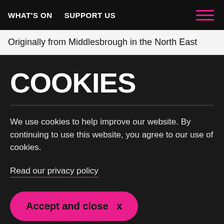WHAT'S ON   SUPPORT US
Originally from Middlesbrough in the North East
COOKIES
We use cookies to help improve our website. By continuing to use this website, you agree to our use of cookies.
Read our privacy policy
Accept and close  x